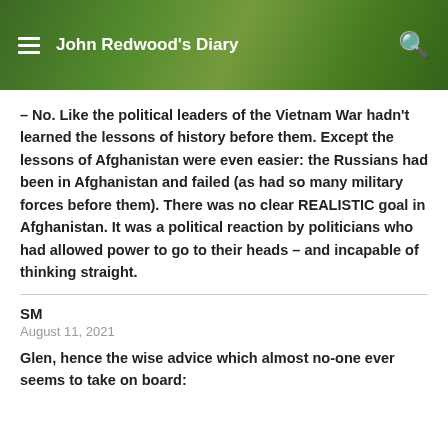John Redwood's Diary
– No. Like the political leaders of the Vietnam War hadn't learned the lessons of history before them. Except the lessons of Afghanistan were even easier: the Russians had been in Afghanistan and failed (as had so many military forces before them). There was no clear REALISTIC goal in Afghanistan. It was a political reaction by politicians who had allowed power to go to their heads – and incapable of thinking straight.
SM
August 11, 2021
Glen, hence the wise advice which almost no-one ever seems to take on board: